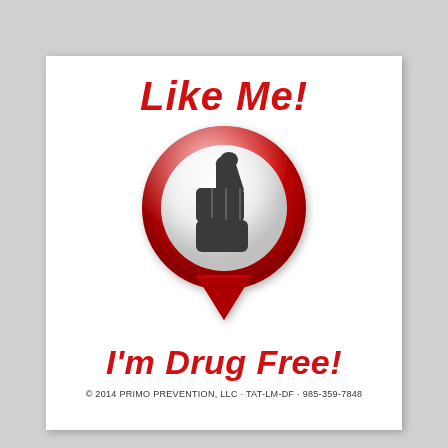[Figure (illustration): Red location pin / map marker graphic with a glossy white interior circle containing a dark thumbs-up icon. The pin shape has a downward-pointing triangle at the bottom. The red ring has a glossy gradient.]
Like Me!
I'm Drug Free!
© 2014 PRIMO PREVENTION, LLC · TAT-LM-DF · 985-359-7848